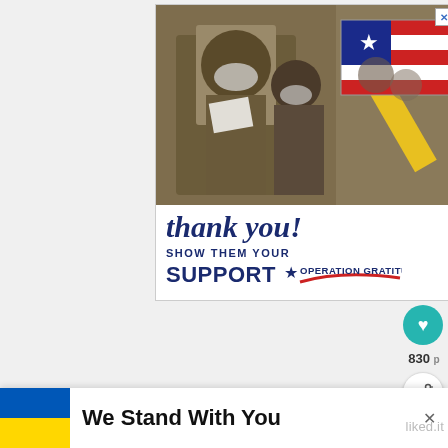[Figure (illustration): Advertisement banner for Operation Gratitude showing soldiers in military uniforms wearing masks reviewing papers, with a decorative American flag pencil graphic, cursive 'thank you!' text, and 'SHOW THEM YOUR SUPPORT OPERATION GRATITUDE' text]
Lemon curd is something you don't normally find in central Europ come from. My first interaction with
[Figure (illustration): WHAT'S NEXT widget showing a food image (french fries) and text 'Easy Homemade...']
[Figure (illustration): We Stand With You banner with Ukraine flag (blue and yellow) and close X button, with liked.it watermark]